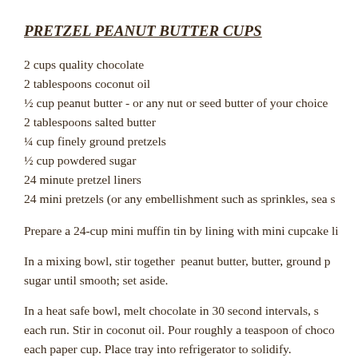PRETZEL PEANUT BUTTER CUPS
2 cups quality chocolate
2 tablespoons coconut oil
½ cup peanut butter - or any nut or seed butter of your choice
2 tablespoons salted butter
¼ cup finely ground pretzels
½ cup powdered sugar
24 minute pretzel liners
24 mini pretzels (or any embellishment such as sprinkles, sea s…
Prepare a 24-cup mini muffin tin by lining with mini cupcake li…
In a mixing bowl, stir together peanut butter, butter, ground p… sugar until smooth; set aside.
In a heat safe bowl, melt chocolate in 30 second intervals, s… each run. Stir in coconut oil. Pour roughly a teaspoon of choco… each paper cup. Place tray into refrigerator to solidify.
While chocolate is firming up, roll out 1 to 1¼ inch balls. Place…